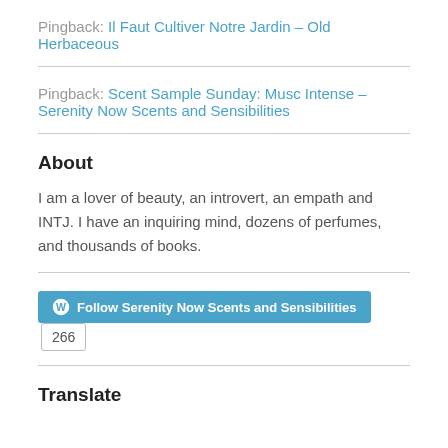Pingback: Il Faut Cultiver Notre Jardin – Old Herbaceous
Pingback: Scent Sample Sunday: Musc Intense – Serenity Now Scents and Sensibilities
About
I am a lover of beauty, an introvert, an empath and INTJ. I have an inquiring mind, dozens of perfumes, and thousands of books.
[Figure (other): Follow Serenity Now Scents and Sensibilities button with WordPress icon and follower count of 266]
Translate